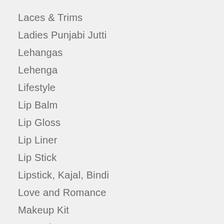Laces & Trims
Ladies Punjabi Jutti
Lehangas
Lehenga
Lifestyle
Lip Balm
Lip Gloss
Lip Liner
Lip Stick
Lipstick, Kajal, Bindi
Love and Romance
Makeup Kit
Mangalsutras
Mascara
Mask & Peel